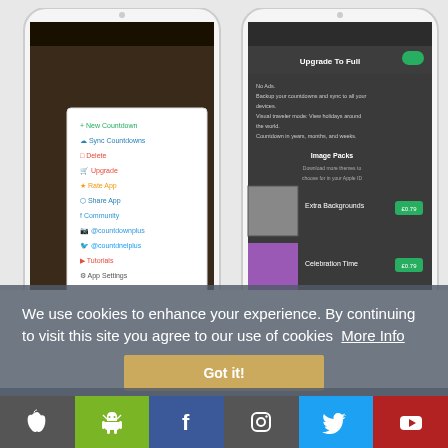[Figure (screenshot): Two iPhone mockups showing a countdown app. Left phone shows a dropdown menu with options: New Countdown, Sync Countdowns, Delete, Upgrade, Rate App, Share App, Community, @countdownplus, @countdnelplus, Tutorials, App Settings. Right phone shows an upgrade/in-app purchase screen with options including Upgrade To Full, No Ads, Backup features, Visual traveler mode, Image Packs, Extra Backgrounds, Celebration Time, Feel The Rhythm.]
We use cookies to enhance your experience. By continuing to visit this site you agree to our use of cookies  More Info
Got it!
Backup your countdowns and sync to all your devices. So, that means when you login via email or FB you ns stored
[Figure (infographic): Social media bar with Apple, Android, Facebook, Instagram, Twitter, YouTube icons]